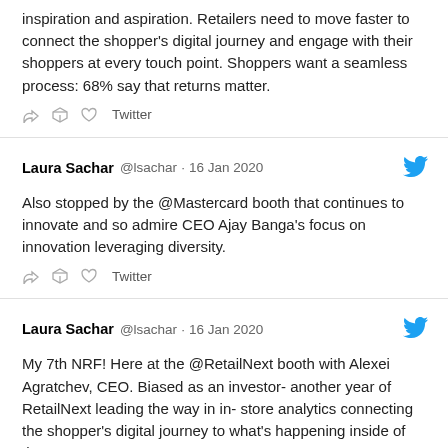inspiration and aspiration. Retailers need to move faster to connect the shopper's digital journey and engage with their shoppers at every touch point. Shoppers want a seamless process: 68% say that returns matter.
Twitter
Laura Sachar @lsachar · 16 Jan 2020
Also stopped by the @Mastercard booth that continues to innovate and so admire CEO Ajay Banga's focus on innovation leveraging diversity.
Twitter
Laura Sachar @lsachar · 16 Jan 2020
My 7th NRF! Here at the @RetailNext booth with Alexei Agratchev, CEO. Biased as an investor- another year of RetailNext leading the way in in-store analytics connecting the shopper's digital journey to what's happening inside of the store.